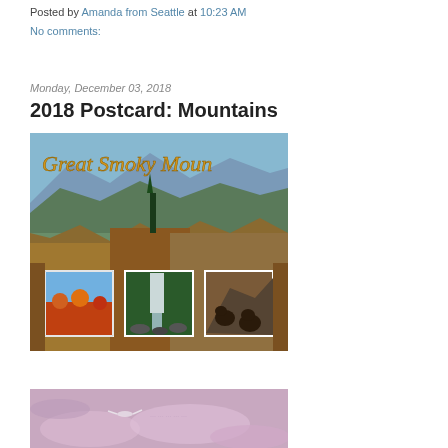Posted by Amanda from Seattle at 10:23 AM
No comments:
Monday, December 03, 2018
2018 Postcard: Mountains
[Figure (photo): Great Smoky Mountains postcard showing aerial mountain views with fall foliage, and three inset photos of flowers, a waterfall, and bears]
[Figure (photo): Second postcard partially visible showing a pink/purple sky with birds]